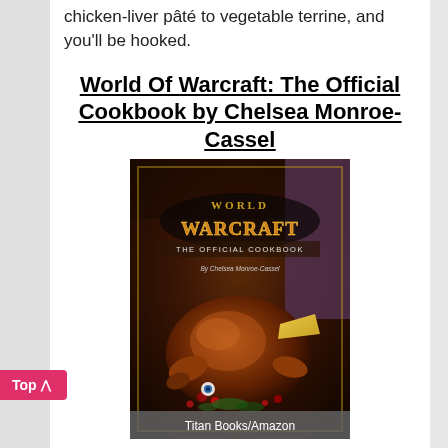chicken-liver pâté to vegetable terrine, and you'll be hooked.
World Of Warcraft: The Official Cookbook by Chelsea Monroe-Cassel
[Figure (photo): Book cover of World Of Warcraft: The Official Cookbook by Chelsea Monroe-Cassel, showing a roasted chicken/turkey with vegetables and the World of Warcraft logo. Caption reads: Titan Books/Amazon]
Titan Books/Amazon
Whether you're an apprentice cook, accomplished chef, druid or orc, World Of Warcraft: The Official Cookbook will